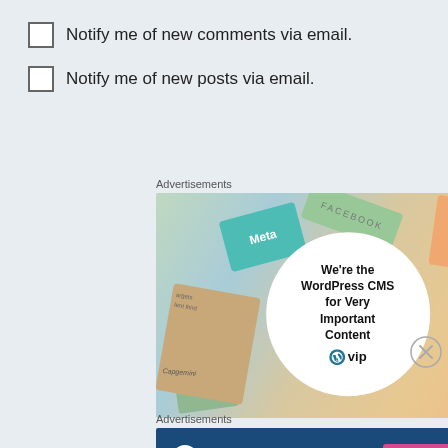Notify me of new comments via email.
Notify me of new posts via email.
Advertisements
[Figure (illustration): WordPress VIP advertisement showing colorful business cards/tiles with Meta, Facebook, Capgemini logos, and a circular overlay reading 'We're the WordPress CMS for Very Important Content' with WP VIP logo]
Advertisements
[Figure (illustration): WordPress.com banner ad with dark blue background, WordPress logo, WordPress.com text, and a pink 'Build Your Website' button]